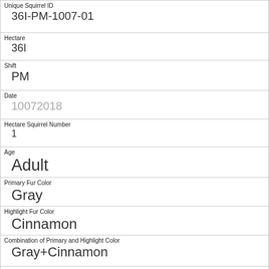| Unique Squirrel ID | 36I-PM-1007-01 |
| Hectare | 36I |
| Shift | PM |
| Date | 10072018 |
| Hectare Squirrel Number | 1 |
| Age | Adult |
| Primary Fur Color | Gray |
| Highlight Fur Color | Cinnamon |
| Combination of Primary and Highlight Color | Gray+Cinnamon |
| Color notes |  |
| Location |  |